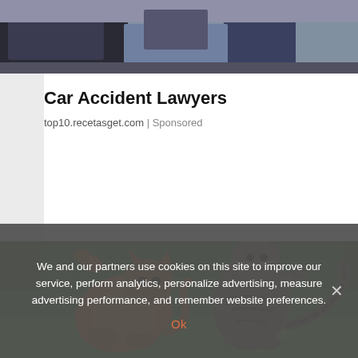[Figure (photo): Top strip showing a car accident scene with people and vehicles, dark/muted tones]
Car Accident Lawyers
top10.recetasget.com | Sponsored
[Figure (photo): Two cats fighting outdoors on grass — an orange fluffy cat on the left rearing up, and a striped tabby cat on the right standing on hind legs with paw raised, green hedge in background]
We and our partners use cookies on this site to improve our service, perform analytics, personalize advertising, measure advertising performance, and remember website preferences.
Ok